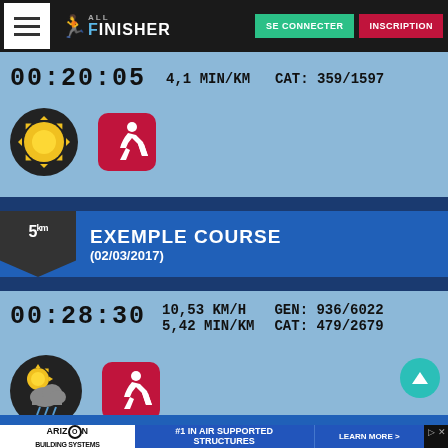[Figure (screenshot): AllFinisher website navigation bar with menu button, logo, SE CONNECTER and INSCRIPTION buttons]
00:20:05  4,1 MIN/KM  CAT: 359/1597
[Figure (illustration): Sun weather icon and running app icon for first result]
EXEMPLE COURSE (02/03/2017)
5km
00:28:30  10,53 KM/H  5,42 MIN/KM  GEN: 936/6022  CAT: 479/2679
[Figure (illustration): Partly cloudy with rain weather icon and running app icon for second result]
[Figure (screenshot): Arizon Building Systems advertisement banner - #1 in Air Supported Structures - Learn More]